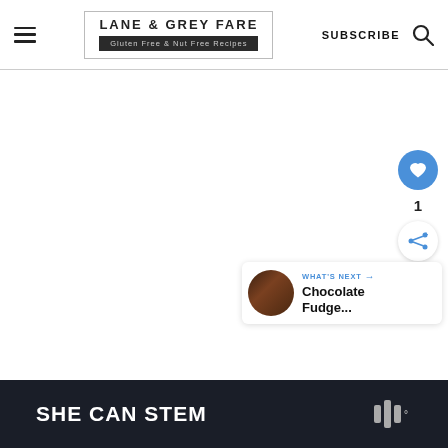LANE & GREY FARE | Gluten Free & Nut Free Recipes | SUBSCRIBE
[Figure (screenshot): White content area with social interaction buttons (heart/like and share) on the right side, showing 1 like. A 'What's Next' card in the bottom right shows a thumbnail image and text 'Chocolate Fudge...']
[Figure (infographic): Dark banner advertisement reading SHE CAN STEM with a logo on the right]